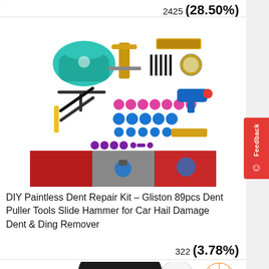2425 (28.50%)
[Figure (photo): Product photo of a DIY Paintless Dent Repair Kit showing 89 pieces including slide hammer, dent pullers, glue gun, tabs in various sizes, carrying bag, and demonstration photos of the kit being used on a car.]
DIY Paintless Dent Repair Kit – Gliston 89pcs Dent Puller Tools Slide Hammer for Car Hail Damage Dent & Ding Remover
322 (3.78%)
[Figure (photo): Partial view of a black suction cup dent puller tool with a circular orange wheel/tire icon partially visible on the right side.]